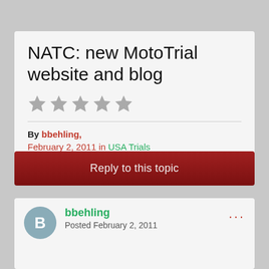NATC: new MotoTrial website and blog
[Figure (other): Five gray star icons for rating]
By bbehling,
February 2, 2011 in USA Trials
Reply to this topic
bbehling
Posted February 2, 2011